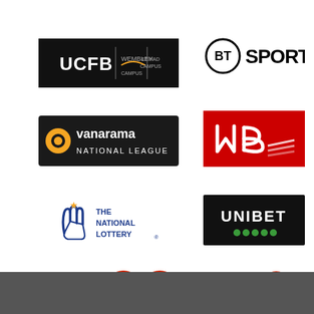[Figure (logo): UCFB Wembley Campus logo - black background with white UCFB text and Wembley logo]
[Figure (logo): BT Sport logo - black circle with BT and Sport text]
[Figure (logo): Vanarama National League logo - black background with orange and white text]
[Figure (logo): New Balance logo - red background with white NB letters]
[Figure (logo): The National Lottery logo - blue crossed fingers hand with text]
[Figure (logo): Unibet logo - black background with white UNIBET text and green dots]
[Figure (logo): Two circular football badges - National League alliance and another league badge]
[Figure (logo): Single circular football badge - National League Cup]